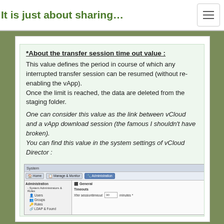It is just about sharing…
*About the transfer session time out value :
This value defines the period in course of which any interrupted transfer session can be resumed (without re-enabling the vApp).
Once the limit is reached, the data are deleted from the staging folder.
One can consider this value as the link between vCloud and a vApp download session (the famous I shouldn't have broken).
You can find this value in the system settings of vCloud Director :
[Figure (screenshot): Screenshot of vCloud Director system settings showing Administration panel with Timeouts section and 'Xfer sessiontimeout' field set to 30 minutes]